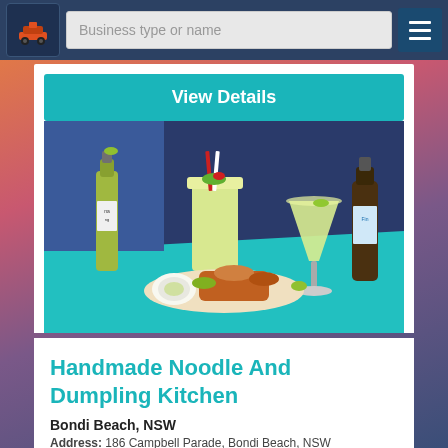Business type or name
View Details
[Figure (photo): Photo of food and drinks on a teal table: beer bottles, cocktails with garnishes, and a platter of food against a dark blue wall background.]
Handmade Noodle And Dumpling Kitchen
Bondi Beach, NSW
Address: 186 Campbell Parade, Bondi Beach, NSW